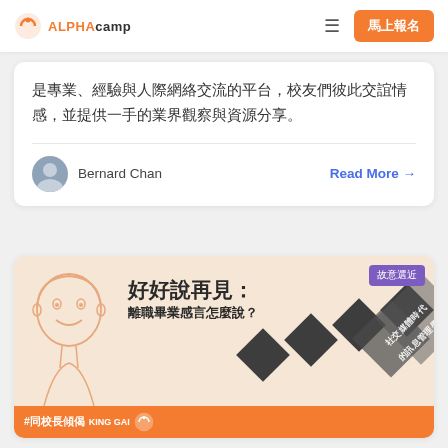ALPHAcamp 馬上報名
是專業、經驗與人際網絡交流的平台，校友們彼此交誼情感，並提供一手的業界觀察與資源分享。
Bernard Chan   Read More →
[Figure (illustration): Promotional banner with illustrated face, large Chinese text '好好說再見：離職畢業感言怎麼說？', diamond pattern background, hashtag bar '#同校長傾偈 KING GAI', and purple editor tag '故意選近']